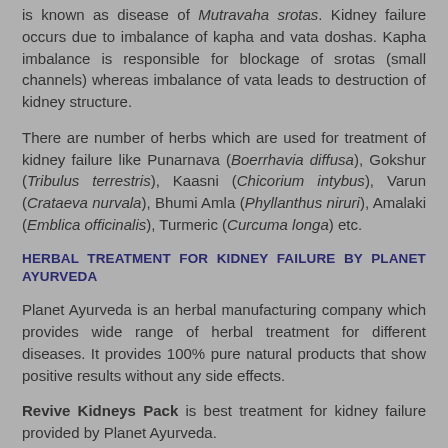is known as disease of Mutravaha srotas. Kidney failure occurs due to imbalance of kapha and vata doshas. Kapha imbalance is responsible for blockage of srotas (small channels) whereas imbalance of vata leads to destruction of kidney structure.
There are number of herbs which are used for treatment of kidney failure like Punarnava (Boerrhavia diffusa), Gokshur (Tribulus terrestris), Kaasni (Chicorium intybus), Varun (Crataeva nurvala), Bhumi Amla (Phyllanthus niruri), Amalaki (Emblica officinalis), Turmeric (Curcuma longa) etc.
HERBAL TREATMENT FOR KIDNEY FAILURE BY PLANET AYURVEDA
Planet Ayurveda is an herbal manufacturing company which provides wide range of herbal treatment for different diseases. It provides 100% pure natural products that show positive results without any side effects.
Revive Kidneys Pack is best treatment for kidney failure provided by Planet Ayurveda.